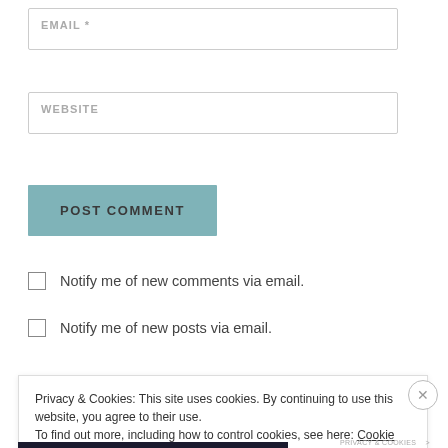EMAIL *
WEBSITE
POST COMMENT
Notify me of new comments via email.
Notify me of new posts via email.
Privacy & Cookies: This site uses cookies. By continuing to use this website, you agree to their use. To find out more, including how to control cookies, see here: Cookie Policy
Close and accept